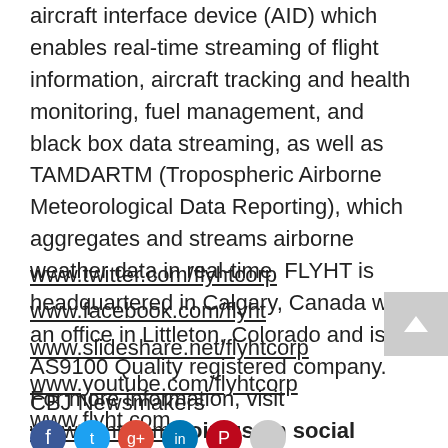aircraft interface device (AID) which enables real-time streaming of flight information, aircraft tracking and health monitoring, fuel management, and black box data streaming, as well as TAMDARTM (Tropospheric Airborne Meteorological Data Reporting), which aggregates and streams airborne weather data in real-time. FLYHT is headquartered in Calgary, Canada with an office in Littleton, Colorado and is an AS9100 Quality registered company. For more information, visit www.flyht.com.Join us on social media!
www.twitter.com/flyhtcorp
www.facebook.com/flyht
www.slideshare.net/flyhtcorp
www.youtube.com/flyhtcorp
www.flyht.com
CBJ Newsmakers
[Figure (other): Row of social media icon circles: Facebook (dark blue), Twitter (light blue), Google+ (red), LinkedIn (dark blue), Pinterest (red/pink), and one grey circle]